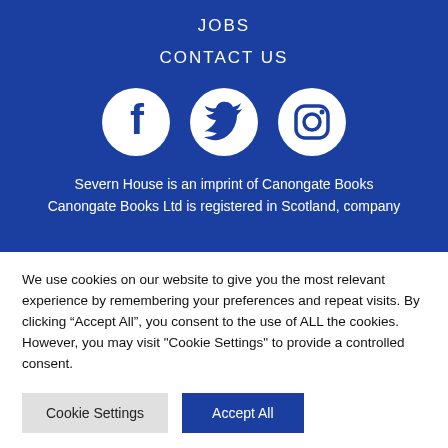JOBS
CONTACT US
[Figure (illustration): Three white social media icons on blue background: Facebook, Twitter, Instagram]
Severn House is an imprint of Canongate Books Canongate Books Ltd is registered in Scotland, company
We use cookies on our website to give you the most relevant experience by remembering your preferences and repeat visits. By clicking “Accept All”, you consent to the use of ALL the cookies. However, you may visit "Cookie Settings" to provide a controlled consent.
Cookie Settings | Accept All